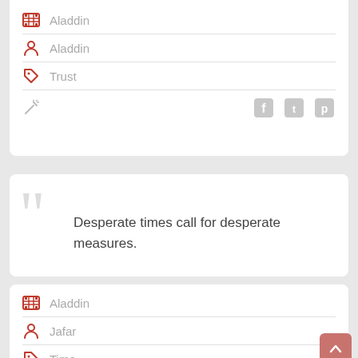Aladdin (movie)
Aladdin (character)
Trust (tag)
[Figure (screenshot): Action row with magic wand icon and social share icons for Facebook, Twitter, Pinterest]
Desperate times call for desperate measures.
Aladdin (movie)
Jafar (character)
Time (tag)
[Figure (screenshot): Partial action row with magic wand icon and social icons, plus back-to-top button]